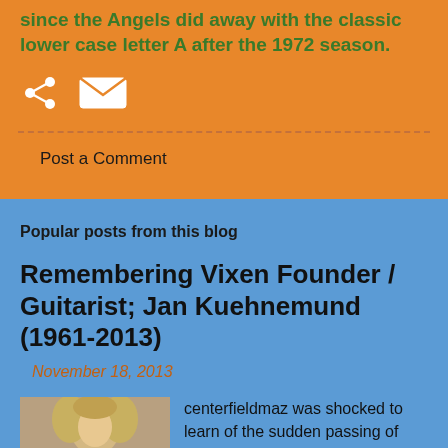since the Angels did away with the classic lower case letter A after the 1972 season.
[Figure (other): Share icon (arrow pointing outward) and email/envelope icon]
Post a Comment
Popular posts from this blog
Remembering Vixen Founder / Guitarist; Jan Kuehnemund (1961-2013)
November 18, 2013
[Figure (photo): Photo of a woman with long blonde curly hair]
centerfieldmaz was shocked to learn of the sudden passing of Jan Kuehnemund, the founding member of the all-female metal ...